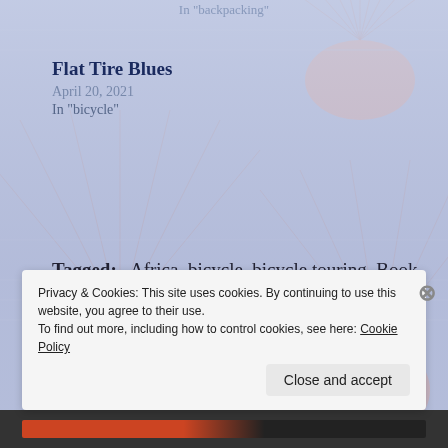In "backpacking"
Flat Tire Blues
April 20, 2021
In "bicycle"
Tagged: Africa, bicycle, bicycle touring, Book, Book Soup, camping, Fisherman's Camp, giraffe, Half Off Books, hippo, hippopotamus, Kenya, Lake Naivasha, Nairobi, safari, Vroman's, zebra
Privacy & Cookies: This site uses cookies. By continuing to use this website, you agree to their use. To find out more, including how to control cookies, see here: Cookie Policy
Close and accept